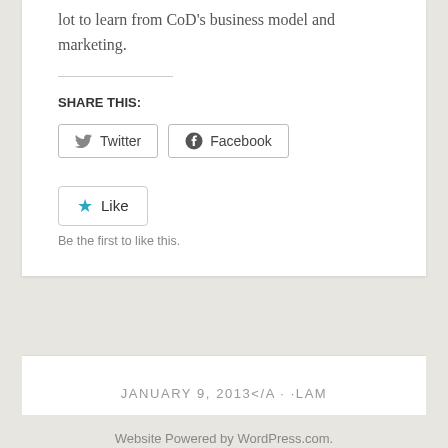lot to learn from CoD's business model and marketing.
SHARE THIS:
[Figure (screenshot): Twitter and Facebook share buttons]
[Figure (screenshot): Like button widget with star icon]
Be the first to like this.
JANUARY 9, 2013</A · ·LAM
Website Powered by WordPress.com.